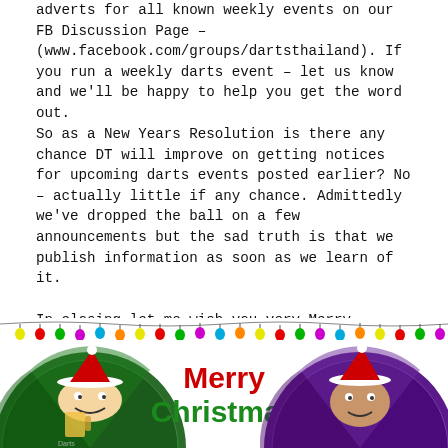adverts for all known weekly events on our FB Discussion Page – (www.facebook.com/groups/dartsthailand). If you run a weekly darts event – let us know and we'll be happy to help you get the word out.
So as a New Years Resolution is there any chance DT will improve on getting notices for upcoming darts events posted earlier? No – actually little if any chance. Admittedly we've dropped the ball on a few announcements but the sad truth is that we publish information as soon as we learn of it.
In closing let me wish you very Merry Christmas and best wishes for a Happy & Healthy New Year. – Johnny Witkowski – DartsThailand.com
[Figure (illustration): Christmas banner with colourful string lights at top, and two circular dartboard characters wearing Santa hats on either side of 'Merry Christmas' text in red and green.]